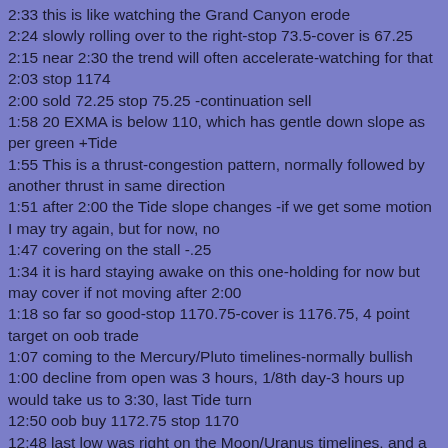2:33 this is like watching the Grand Canyon erode
2:24 slowly rolling over to the right-stop 73.5-cover is 67.25
2:15 near 2:30 the trend will often accelerate-watching for that
2:03 stop 1174
2:00 sold 72.25 stop 75.25 -continuation sell
1:58 20 EXMA is below 110, which has gentle down slope as per green +Tide
1:55 This is a thrust-congestion pattern, normally followed by another thrust in same direction
1:51 after 2:00 the Tide slope changes -if we get some motion I may try again, but for now, no
1:47 covering on the stall -.25
1:34 it is hard staying awake on this one-holding for now but may cover if not moving after 2:00
1:18 so far so good-stop 1170.75-cover is 1176.75, 4 point target on oob trade
1:07 coming to the Mercury/Pluto timelines-normally bullish
1:00 decline from open was 3 hours, 1/8th day-3 hours up would take us to 3:30, last Tide turn
12:50 oob buy 1172.75 stop 1170
12:48 last low was right on the Moon/Uranus timelines, and a Natural Time -no trade yet
12:34 the first quarter of the moon is exact at 12:50 and the Xchg just passed it-should add energy
12:20 the general shape of the price pattern matches the shape of the +Tide